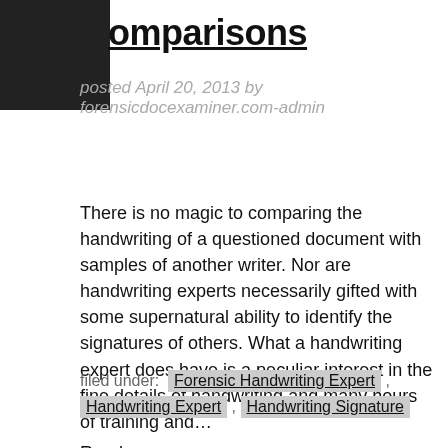omparisons
posted April 20, 2013 by forensicdocexaminer.com-admin
There is no magic to comparing the handwriting of a questioned document with samples of another writer. Nor are handwriting experts necessarily gifted with some supernatural ability to identify the signatures of others. What a handwriting expert does have is a peculiar interest in the fine details of handwriting and many hours of training and...
Read more »
filed under: Forensic Handwriting Expert , Handwriting Expert , Handwriting Signature